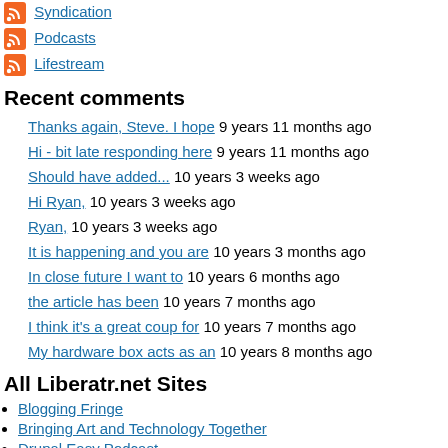Syndication
Podcasts
Lifestream
Recent comments
Thanks again, Steve. I hope 9 years 11 months ago
Hi - bit late responding here 9 years 11 months ago
Should have added... 10 years 3 weeks ago
Hi Ryan, 10 years 3 weeks ago
Ryan, 10 years 3 weeks ago
It is happening and you are 10 years 3 months ago
In close future I want to 10 years 6 months ago
the article has been 10 years 7 months ago
I think it's a great coup for 10 years 7 months ago
My hardware box acts as an 10 years 8 months ago
All Liberatr.net Sites
Blogging Fringe
Bringing Art and Technology Together
Drupal Easy Podcast
Florida Creatives Podcast